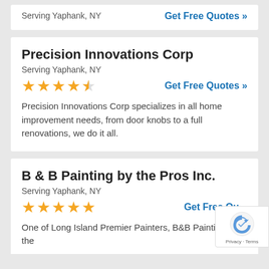Serving Yaphank, NY
Get Free Quotes »
Precision Innovations Corp
Serving Yaphank, NY
★★★★½  Get Free Quotes »
Precision Innovations Corp specializes in all home improvement needs, from door knobs to a full renovations, we do it all.
B & B Painting by the Pros Inc.
Serving Yaphank, NY
★★★★★  Get Free Qu…
One of Long Island Premier Painters, B&B Painting by the